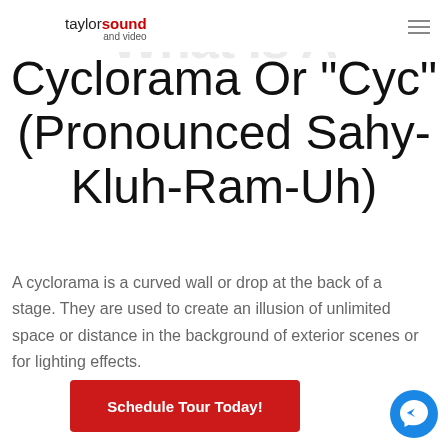taylor sound and video
Cyclorama Or "Cyc" (Pronounced Sahy-Kluh-Ram-Uh)
A cyclorama is a curved wall or drop at the back of a stage. They are used to create an illusion of unlimited space or distance in the background of exterior scenes or for lighting effects.
[Figure (other): Red call-to-action button labeled 'Schedule Tour Today!']
[Figure (other): Blue circular Facebook Messenger chat button in bottom-right corner]